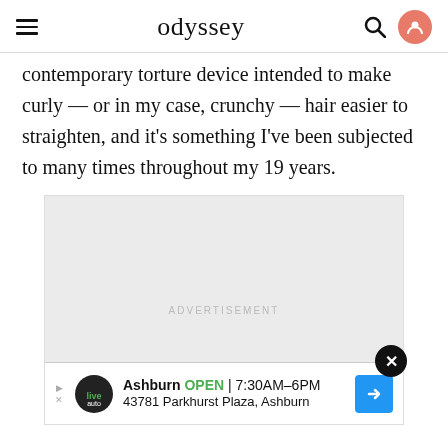odyssey
contemporary torture device intended to make curly — or in my case, crunchy — hair easier to straighten, and it's something I've been subjected to many times throughout my 19 years.
[Figure (other): Advertisement placeholder box with 'ADVERTISEMENT' label and a local auto business banner ad at the bottom showing 'Ashburn OPEN 7:30AM-6PM, 43781 Parkhurst Plaza, Ashburn']